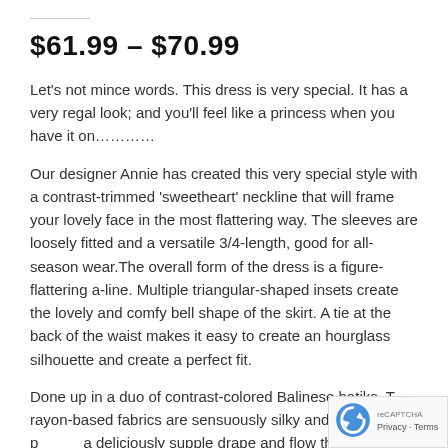$61.99 – $70.99
Let's not mince words. This dress is very special. It has a very regal look; and you'll feel like a princess when you have it on…………
Our designer Annie has created this very special style with a contrast-trimmed 'sweetheart' neckline that will frame your lovely face in the most flattering way. The sleeves are loosely fitted and a versatile 3/4-length, good for all-season wear. The overall form of the dress is a figure-flattering a-line. Multiple triangular-shaped insets create the lovely and comfy bell shape of the skirt. A tie at the back of the waist makes it easy to create an hourglass silhouette and create a perfect fit.
Done up in a duo of contrast-colored Balinese batiks. T… rayon-based fabrics are sensuously silky and soft and p… a deliciously supple drape and flow that truly enhances the